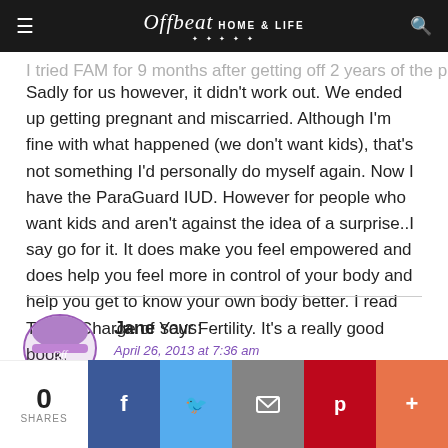Offbeat HOME & LIFE
I tried FAM for 9 months after getting off 2 years of the pill. Sadly for us however, it didn't work out. We ended up getting pregnant and miscarried. Although I'm fine with what happened (we don't want kids), that's not something I'd personally do myself again. Now I have the ParaGuard IUD. However for people who want kids and aren't against the idea of a surprise..I say go for it. It does make you feel empowered and does help you feel more in control of your body and help you get to know your own body better. I read Taking Charge of Your Fertility. It's a really good book.
Jane says:
April 26, 2013 at 7:36 am
0 SHARES | Facebook | Twitter | Email | Pinterest | More